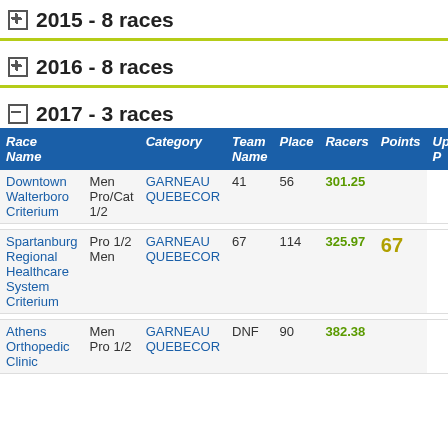+ 2015 - 8 races
+ 2016 - 8 races
- 2017 - 3 races
|  | Race Name | Category | Team Name | Place | Racers | Points | Upg P |
| --- | --- | --- | --- | --- | --- | --- | --- |
| Downtown Walterboro Criterium | Men Pro/Cat 1/2 | GARNEAU QUEBECOR | 41 | 56 | 301.25 |  |
| Spartanburg Regional Healthcare System Criterium | Pro 1/2 Men | GARNEAU QUEBECOR | 67 | 114 | 325.97 | 67 |
| Athens Orthopedic Clinic | Men Pro 1/2 | GARNEAU QUEBECOR | DNF | 90 | 382.38 |  |